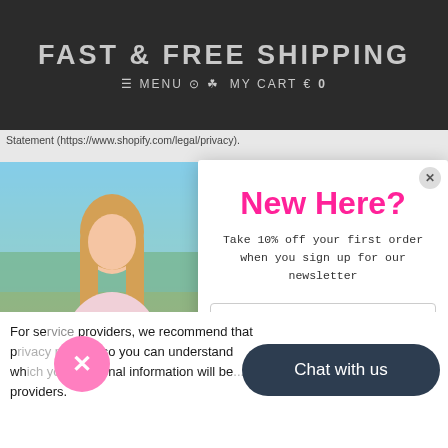FAST & FREE SHIPPING
≡ MENU 🏠 👤 MY CART 🛍 0
Statement (https://www.shopify.com/legal/privacy).
[Figure (photo): Young blonde woman wearing a pink graphic T-shirt with 'Weekend Wanderer' text and tropical design, standing outdoors near water]
New Here?
Take 10% off your first order when you sign up for our newsletter
Enter your email address
Sign up for free
For service providers, we recommend that you review their privacy policies so you can understand the manner in which your personal information will be handled by these providers.